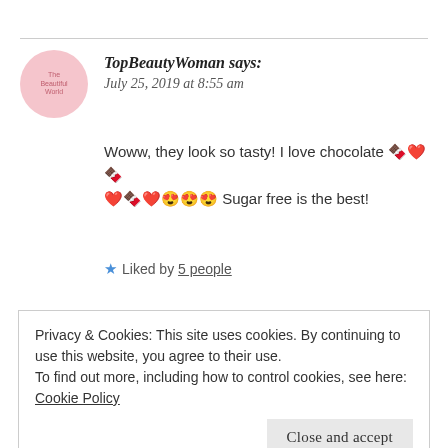TopBeautyWoman says: July 25, 2019 at 8:55 am
Woww, they look so tasty! I love chocolate 🍫❤️🍫❤️🍫❤️😍😍😍 Sugar free is the best!
Liked by 5 people
Reply
Privacy & Cookies: This site uses cookies. By continuing to use this website, you agree to their use.
To find out more, including how to control cookies, see here: Cookie Policy
Close and accept